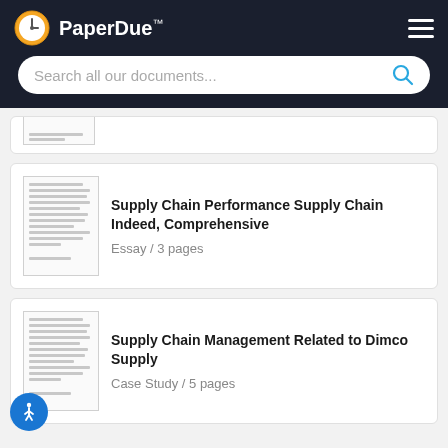PaperDue™
Search all our documents...
Supply Chain Performance Supply Chain Indeed, Comprehensive
Essay / 3 pages
Supply Chain Management Related to Dimco Supply
Case Study / 5 pages